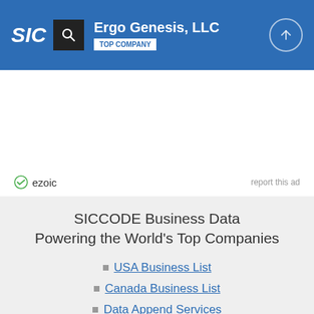SIC | Ergo Genesis, LLC | TOP COMPANY
[Figure (screenshot): Ezoic ad placeholder area with ezoic logo and 'report this ad' link]
SICCODE Business Data Powering the World's Top Companies
USA Business List
Canada Business List
Data Append Services